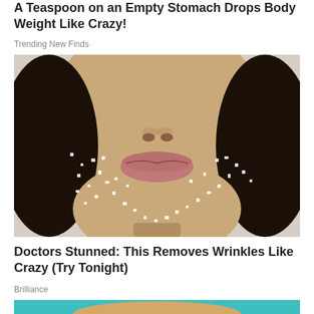A Teaspoon on an Empty Stomach Drops Body Weight Like Crazy!
Trending New Finds
[Figure (photo): Close-up photo of a person's lower face with sugar crystals covering their chin, cheeks, and lips area, resembling a sugar scrub beauty treatment. Light gray background.]
Doctors Stunned: This Removes Wrinkles Like Crazy (Try Tonight)
Brilliance
[Figure (photo): Partial top-of-head view of a person with blonde hair against a teal/turquoise background.]